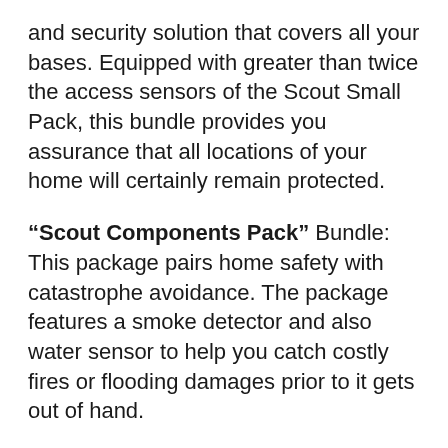and security solution that covers all your bases. Equipped with greater than twice the access sensors of the Scout Small Pack, this bundle provides you assurance that all locations of your home will certainly remain protected.
"Scout Components Pack" Bundle: This package pairs home safety with catastrophe avoidance. The package features a smoke detector and also water sensor to help you catch costly fires or flooding damages prior to it gets out of hand.
"Scout Architect Pack" Plan: This is designed to be Scout's the majority of extensive house security offering. Combining all the tools included in the Scout Small Pack